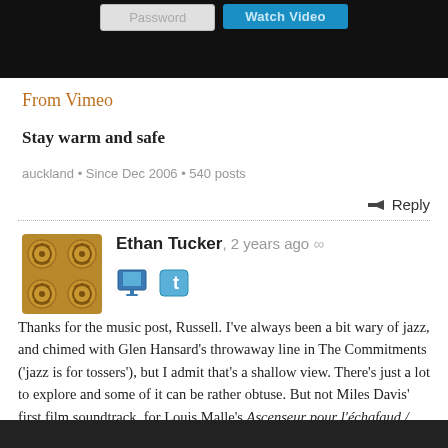[Figure (screenshot): Video player top bar with Password input and Watch Video button on dark background]
From Vimeo
Stay warm and safe
auckland • Since Dec 2006 • 540 posts
Reply
Ethan Tucker, 2 years ago ∞
Thanks for the music post, Russell. I've always been a bit wary of jazz, and chimed with Glen Hansard's throwaway line in The Commitments ('jazz is for tossers'), but I admit that's a shallow view. There's just a lot to explore and some of it can be rather obtuse. But not Miles Davis' first film soundtrack, for Louis Malle's Ascenseur pour l'échafaud / Elevator to the Gallows. Formidable!
[Figure (screenshot): Dark video thumbnail at bottom of page]